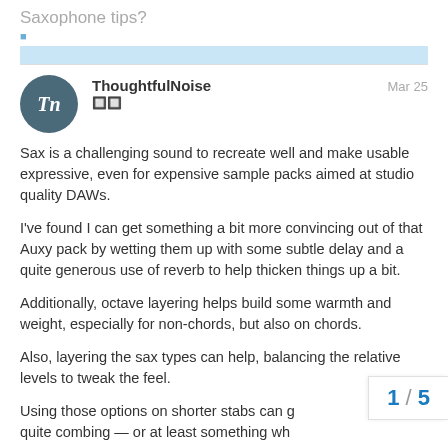Saxophone tips?
Sax is a challenging sound to recreate well and make usable expressive, even for expensive sample packs aimed at studio quality DAWs.

I've found I can get something a bit more convincing out of that Auxy pack by wetting them up with some subtle delay and a quite generous use of reverb to help thicken things up a bit.

Additionally, octave layering helps build some warmth and weight, especially for non-chords, but also on chords.

Also, layering the sax types can help, balancing the relative levels to tweak the feel.

Using those options on shorter stabs can g quite combing — or at least something wh
1 / 5